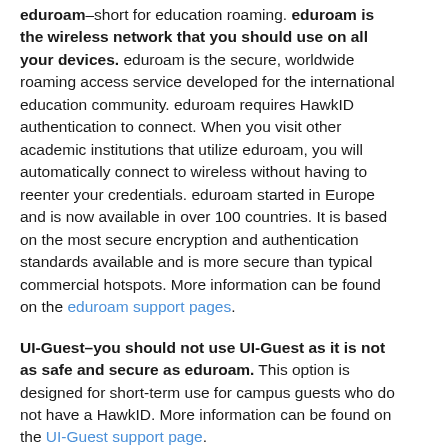eduroam–short for education roaming. eduroam is the wireless network that you should use on all your devices. eduroam is the secure, worldwide roaming access service developed for the international education community. eduroam requires HawkID authentication to connect. When you visit other academic institutions that utilize eduroam, you will automatically connect to wireless without having to reenter your credentials. eduroam started in Europe and is now available in over 100 countries. It is based on the most secure encryption and authentication standards available and is more secure than typical commercial hotspots. More information can be found on the eduroam support pages.
UI-Guest–you should not use UI-Guest as it is not as safe and secure as eduroam. This option is designed for short-term use for campus guests who do not have a HawkID. More information can be found on the UI-Guest support page.
UI-DeviceNet–this option is designed for you to connect your gaming and streaming devices to wireless in the